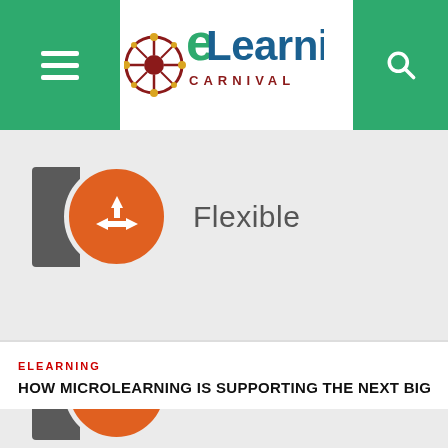[Figure (logo): eLearning Carnival logo with decorative wheel graphic, green header bar with hamburger menu icon on left and search icon on right]
[Figure (infographic): Infographic on light grey background showing two rows: 1) orange circle icon with arrows pointing up and sideways (flexible/options symbol) next to dark grey bar with text 'Flexible'; 2) orange circle icon with leaf/sustainability symbol next to dark grey bar with text 'Sustainable']
ELEARNING
HOW MICROLEARNING IS SUPPORTING THE NEXT BIG TALENT SH